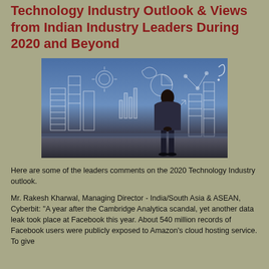Technology Industry Outlook & Views from Indian Industry Leaders During 2020 and Beyond
[Figure (photo): A person in a business suit standing with their back to the viewer, facing a glowing digital illustration of technology concepts including buildings, charts, and data visualizations against a blue background.]
Here are some of the leaders comments on the 2020 Technology Industry outlook.
Mr. Rakesh Kharwal, Managing Director - India/South Asia & ASEAN, Cyberbit: "A year after the Cambridge Analytica scandal, yet another data leak took place at Facebook this year. About 540 million records of Facebook users were publicly exposed to Amazon's cloud hosting service. To give